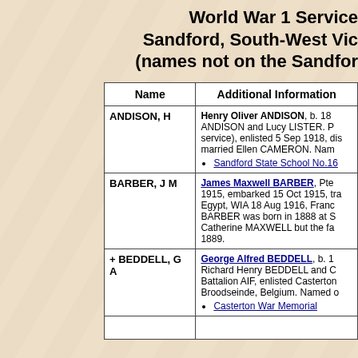World War 1 Service Records – Sandford, South-West Victoria (names not on the Sandford ...)
| Name | Additional Information |
| --- | --- |
| ANDISON, H | Henry Oliver ANDISON, b. 18... ANDISON and Lucy LISTER. P... service), enlisted 5 Sep 1918, dis... married Ellen CAMERON. Nam... • Sandford State School No.16... |
| BARBER, J M | James Maxwell BARBER, Pte... 1915, embarked 15 Oct 1915, tra... Egypt, WIA 18 Aug 1916, Franc... BARBER was born in 1888 at S... Catherine MAXWELL but the fa... 1889. |
| + BEDDELL, G A | George Alfred BEDDELL, b. 1... Richard Henry BEDDELL and C... Battalion AIF, enlisted Casterton... Broodseinde, Belgium. Named o... • Casterton War Memorial |